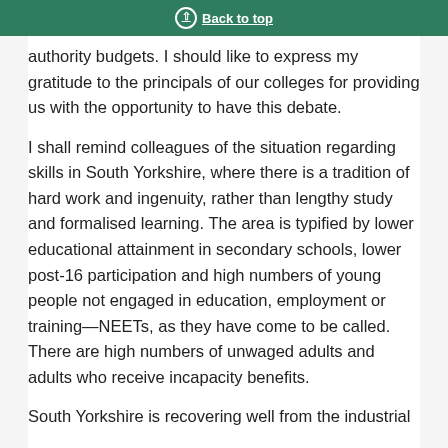Back to top
authority budgets. I should like to express my gratitude to the principals of our colleges for providing us with the opportunity to have this debate.
I shall remind colleagues of the situation regarding skills in South Yorkshire, where there is a tradition of hard work and ingenuity, rather than lengthy study and formalised learning. The area is typified by lower educational attainment in secondary schools, lower post-16 participation and high numbers of young people not engaged in education, employment or training—NEETs, as they have come to be called. There are high numbers of unwaged adults and adults who receive incapacity benefits.
South Yorkshire is recovering well from the industrial